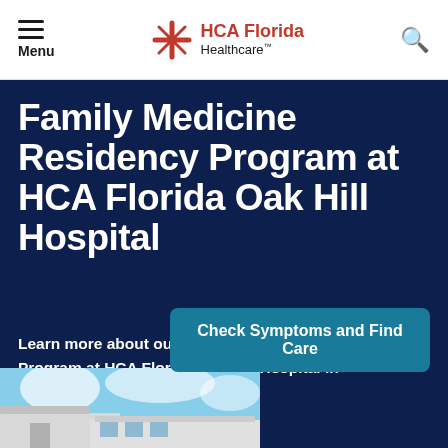Menu | HCA Florida Healthcare | Search
Family Medicine Residency Program at HCA Florida Oak Hill Hospital
Learn more about our Family Medicine Residency Program at HCA Florida Oak Hill Hospital in Brooksville, Florida.
Check Symptoms and Find Care
[Figure (photo): Exterior photo of HCA Florida Oak Hill Hospital building against a blue sky with clouds]